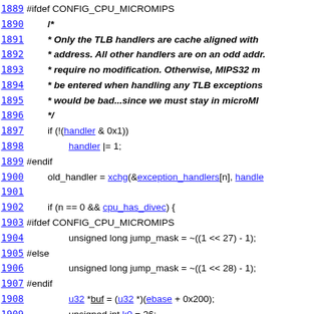Source code listing lines 1889-1913 from a C/assembly file showing microMIPS TLB handler configuration
1889 #ifdef CONFIG_CPU_MICROMIPS
1890     /*
1891      * Only the TLB handlers are cache aligned with
1892      * address. All other handlers are on an odd addr.
1893      * require no modification. Otherwise, MIPS32 m
1894      * be entered when handling any TLB exceptions
1895      * would be bad...since we must stay in microMI
1896      */
1897         if (!(handler & 0x1))
1898                 handler |= 1;
1899 #endif
1900         old_handler = xchg(&exception_handlers[n], handler
1901
1902         if (n == 0 && cpu_has_divec) {
1903 #ifdef CONFIG_CPU_MICROMIPS
1904                 unsigned long jump_mask = ~((1 << 27) - 1);
1905 #else
1906                 unsigned long jump_mask = ~((1 << 28) - 1);
1907 #endif
1908                 u32 *buf = (u32 *)(ebase + 0x200);
1909                 unsigned int k0 = 26;
1910                 if ((handler & jump_mask) == ((ebase + 0x200)
1911                         uasm_i_j(&buf, handler & ~jump_mask);
1912                         uasm_i_nop(&buf);
1913                 } else {